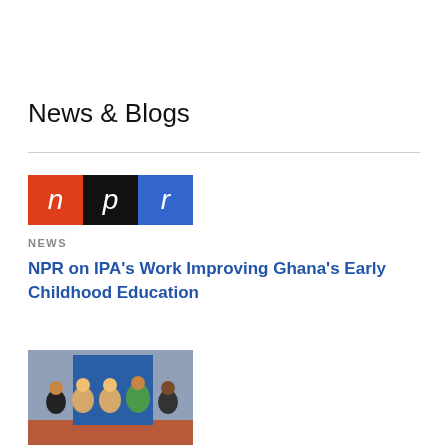News & Blogs
[Figure (logo): NPR logo with three colored squares: red 'n', black 'p', blue 'r']
NEWS
NPR on IPA's Work Improving Ghana's Early Childhood Education
[Figure (photo): Photo of a panel discussion with several people seated in front of a blue banner]